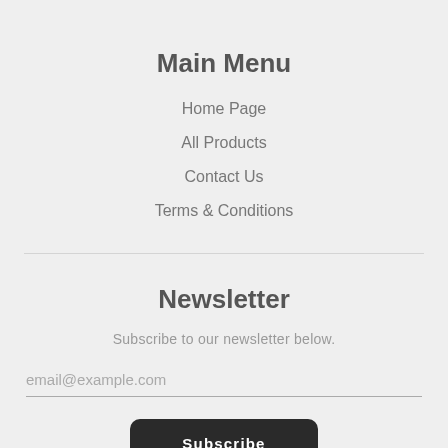Main Menu
Home Page
All Products
Contact Us
Terms & Conditions
Newsletter
Subscribe to our newsletter below.
email@example.com
Subscribe